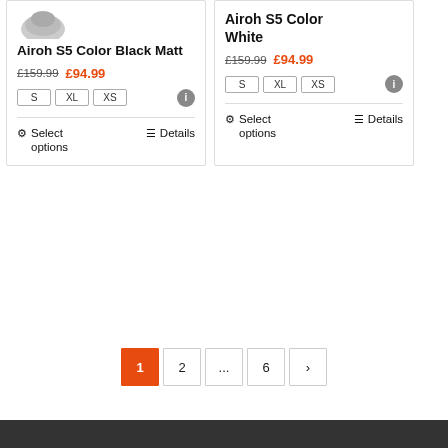[Figure (photo): Partial helmet image visible at top of left product card]
Airoh S5 Color Black Matt
£159.99  £94.99
S  XL  XS
Select options   Details
Airoh S5 Color White
£159.99  £94.99
S  XL  XS
Select options   Details
1  2  ...  6  >